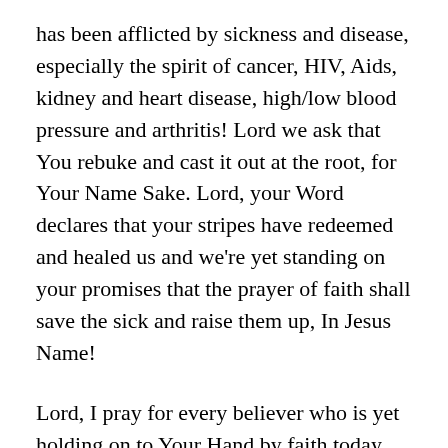has been afflicted by sickness and disease, especially the spirit of cancer, HIV, Aids, kidney and heart disease, high/low blood pressure and arthritis! Lord we ask that You rebuke and cast it out at the root, for Your Name Sake. Lord, your Word declares that your stripes have redeemed and healed us and we're yet standing on your promises that the prayer of faith shall save the sick and raise them up, In Jesus Name!
Lord, I pray for every believer who is yet holding on to Your Hand by faith today, that You will release Divine power, Supernatural strength and health, provision, prosperity and protection. Father, we're trusting that You will preserve them thru the tests that they must go thru and keep them constantly